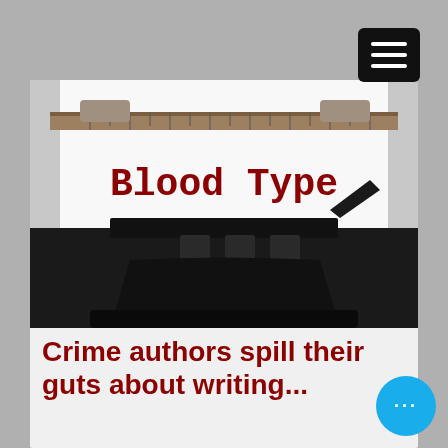[Figure (screenshot): Mobile website screenshot showing a typewriter image with 'Blood Type' typed on paper, and the headline 'Crime authors spill their guts about writing...' in dark red bold text on a light background. A hamburger menu icon is in the top right and a blue circle with ellipsis is in the bottom right.]
Blood Type
Crime authors spill their guts about writing...